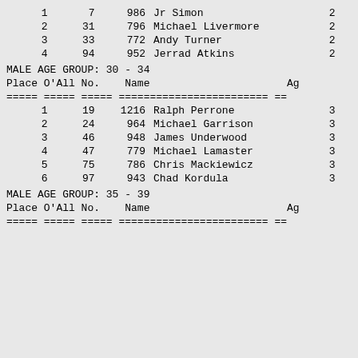| Place | O'All | No. | Name | Ag |
| --- | --- | --- | --- | --- |
| 1 | 7 | 986 | Jr Simon | 2 |
| 2 | 31 | 796 | Michael Livermore | 2 |
| 3 | 33 | 772 | Andy Turner | 2 |
| 4 | 94 | 952 | Jerrad Atkins | 2 |
MALE AGE GROUP:  30 - 34
| Place | O'All | No. | Name | Ag |
| --- | --- | --- | --- | --- |
| 1 | 19 | 1216 | Ralph Perrone | 3 |
| 2 | 24 | 964 | Michael Garrison | 3 |
| 3 | 46 | 948 | James Underwood | 3 |
| 4 | 47 | 779 | Michael Lamaster | 3 |
| 5 | 75 | 786 | Chris Mackiewicz | 3 |
| 6 | 97 | 943 | Chad Kordula | 3 |
MALE AGE GROUP:  35 - 39
| Place | O'All | No. | Name | Ag |
| --- | --- | --- | --- | --- |